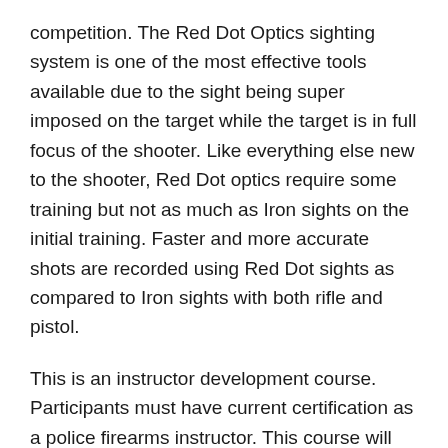competition. The Red Dot Optics sighting system is one of the most effective tools available due to the sight being super imposed on the target while the target is in full focus of the shooter. Like everything else new to the shooter, Red Dot optics require some training but not as much as Iron sights on the initial training. Faster and more accurate shots are recorded using Red Dot sights as compared to Iron sights with both rifle and pistol.
This is an instructor development course. Participants must have current certification as a police firearms instructor. This course will refine the skills of instructors necessary to develop and run Red Dot Optics programs. The course includes both classroom and live-fire range time.
Outcomes: